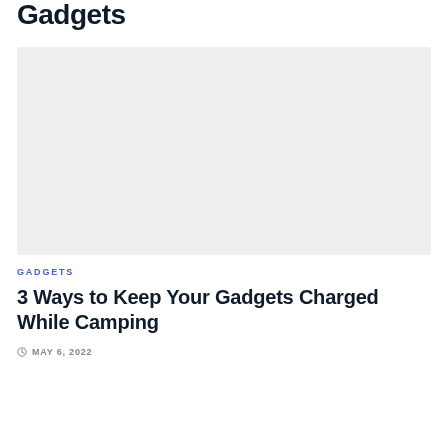Gadgets
[Figure (photo): Large placeholder image with light gray background for a camping/gadgets article]
GADGETS
3 Ways to Keep Your Gadgets Charged While Camping
MAY 6, 2022